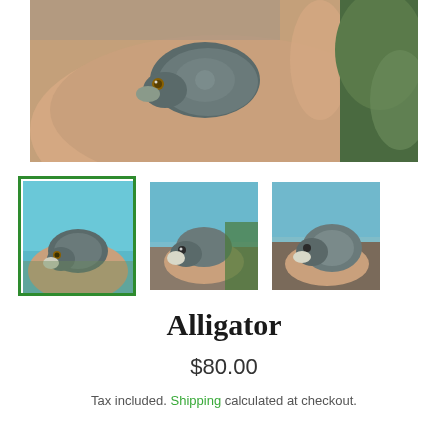[Figure (photo): Close-up photo of a small turtle or alligator snapping turtle being held in an open palm, showing detailed texture of skin and eye, with mossy rocks in background.]
[Figure (photo): Three thumbnail images of the same small turtle/alligator snapping turtle held in a hand. The first thumbnail is selected with a green border.]
Alligator
$80.00
Tax included. Shipping calculated at checkout.